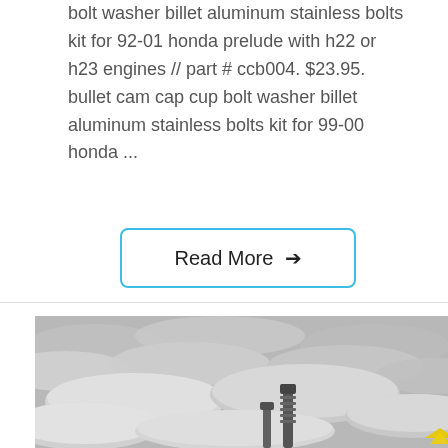bolt washer billet aluminum stainless bolts kit for 92-01 honda prelude with h22 or h23 engines // part # ccb004. $23.95. bullet cam cap cup bolt washer billet aluminum stainless bolts kit for 99-00 honda ...
Read More →
[Figure (photo): Close-up photo of multiple stainless steel or aluminum round disc/washer pieces stacked and arranged, with a bolt or metal tool visible in the foreground, and a small yellow arrow or marker visible at the bottom right.]